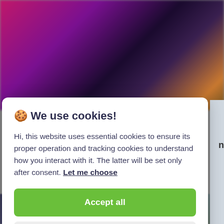[Figure (photo): Blurred background photo showing colorful nightlife or event scene with pink, purple, and warm tones at the top, and a second blurred image at the bottom.]
🍪 We use cookies!
Hi, this website uses essential cookies to ensure its proper operation and tracking cookies to understand how you interact with it. The latter will be set only after consent. Let me choose
Accept all
Reject all